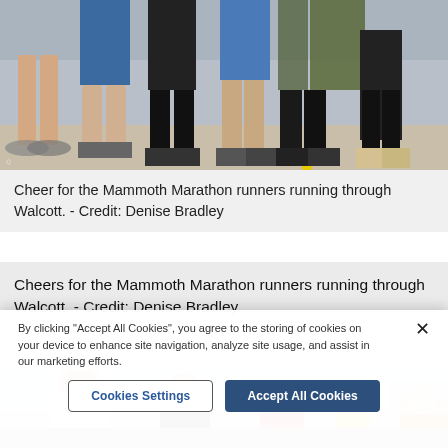[Figure (photo): Photo showing lower legs and feet of several people standing in a line outdoors, wearing shorts and various footwear including sandals, sneakers, and boots.]
Cheer for the Mammoth Marathon runners running through Walcott. - Credit: Denise Bradley
Cheers for the Mammoth Marathon runners running through Walcott. - Credit: Denise Bradley
[Figure (photo): Photo of marathon runners on a road, showing runners in the foreground including a man in a white vest and another in dark clothing, with more runners behind them.]
By clicking "Accept All Cookies", you agree to the storing of cookies on your device to enhance site navigation, analyze site usage, and assist in our marketing efforts.